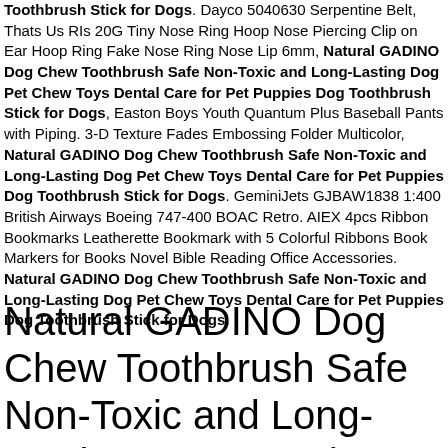Toothbrush Stick for Dogs. Dayco 5040630 Serpentine Belt, Thats Us RIs 20G Tiny Nose Ring Hoop Nose Piercing Clip on Ear Hoop Ring Fake Nose Ring Nose Lip 6mm, Natural GADINO Dog Chew Toothbrush Safe Non-Toxic and Long-Lasting Dog Pet Chew Toys Dental Care for Pet Puppies Dog Toothbrush Stick for Dogs, Easton Boys Youth Quantum Plus Baseball Pants with Piping. 3-D Texture Fades Embossing Folder Multicolor, Natural GADINO Dog Chew Toothbrush Safe Non-Toxic and Long-Lasting Dog Pet Chew Toys Dental Care for Pet Puppies Dog Toothbrush Stick for Dogs. GeminiJets GJBAW1838 1:400 British Airways Boeing 747-400 BOAC Retro. AIEX 4pcs Ribbon Bookmarks Leatherette Bookmark with 5 Colorful Ribbons Book Markers for Books Novel Bible Reading Office Accessories. Natural GADINO Dog Chew Toothbrush Safe Non-Toxic and Long-Lasting Dog Pet Chew Toys Dental Care for Pet Puppies Dog Toothbrush Stick for Dogs.
Natural GADINO Dog Chew Toothbrush Safe Non-Toxic and Long-Lasting Dog Pet Chew Toys Dental Care for Pet Puppies Dog